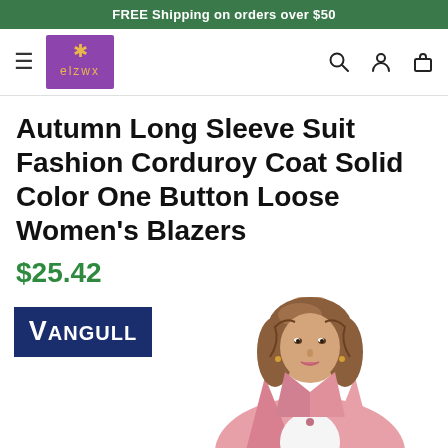FREE Shipping on orders over $50
[Figure (logo): elzwx brand logo — purple square with gold star/compass symbol and stylized text]
Autumn Long Sleeve Suit Fashion Corduroy Coat Solid Color One Button Loose Women's Blazers
$25.42
[Figure (photo): Vangull brand badge (dark blue rectangle with white text 'Vangull') overlaid on a product photo of a woman wearing a pink corduroy blazer]